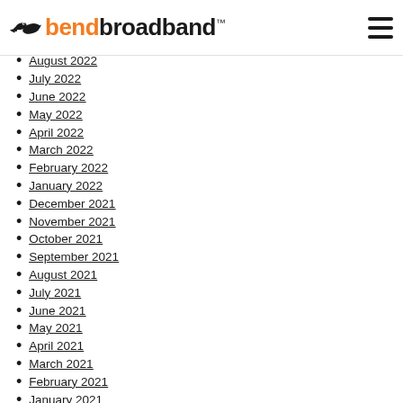bendbroadband
August 2022
July 2022
June 2022
May 2022
April 2022
March 2022
February 2022
January 2022
December 2021
November 2021
October 2021
September 2021
August 2021
July 2021
June 2021
May 2021
April 2021
March 2021
February 2021
January 2021